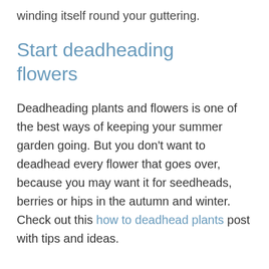winding itself round your guttering.
Start deadheading flowers
Deadheading plants and flowers is one of the best ways of keeping your summer garden going. But you don't want to deadhead every flower that goes over, because you may want it for seedheads, berries or hips in the autumn and winter. Check out this how to deadhead plants post with tips and ideas.